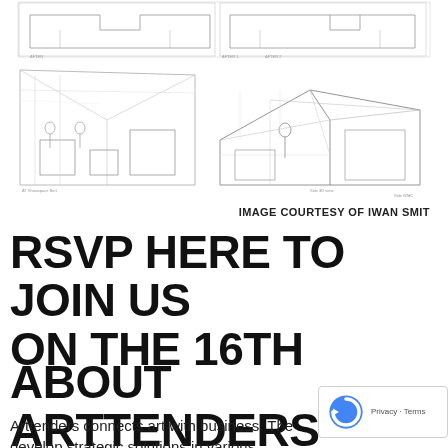[Figure (illustration): Architectural/exhibition line drawings showing room layouts and 3D perspective sketches of gallery or retail spaces. Multiple panels: top strip with two side-by-side floor plan sketches, bottom left showing a perspective interior scene, bottom right showing a 3D isometric view of a room/booth structure.]
IMAGE COURTESY OF IWAN SMIT
RSVP HERE TO JOIN US ON THE 16TH
ABOUT ARTTENDERS
Arttenders connects art with business. The develop strategic solutions in various